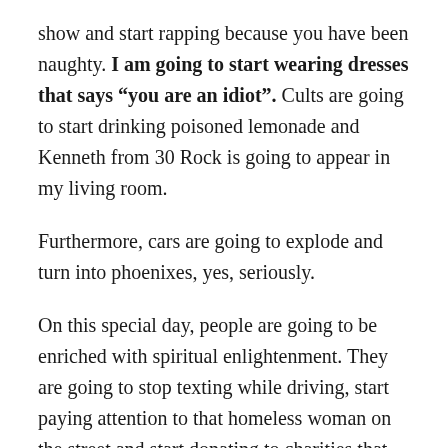show and start rapping because you have been naughty. I am going to start wearing dresses that says “you are an idiot”. Cults are going to start drinking poisoned lemonade and Kenneth from 30 Rock is going to appear in my living room.
Furthermore, cars are going to explode and turn into phoenixes, yes, seriously.
On this special day, people are going to be enriched with spiritual enlightenment. They are going to stop texting while driving, start paying attention to that homeless woman on the street and start donating to charities that feed whales. Then I’m going to start singing Christmas carols and burn down corporations.